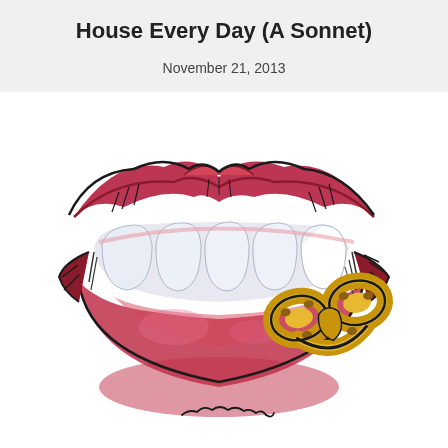House Every Day (A Sonnet)
November 21, 2013
[Figure (illustration): Ink and watercolor illustration of a pair of red/crimson lips with teeth showing, biting a golden pretzel. The style is comic/graphic art with bold black ink outlines and loose watercolor fills in deep red for the lips, white-blue for the teeth, and golden-yellow for the pretzel. An artist signature appears at the bottom.]